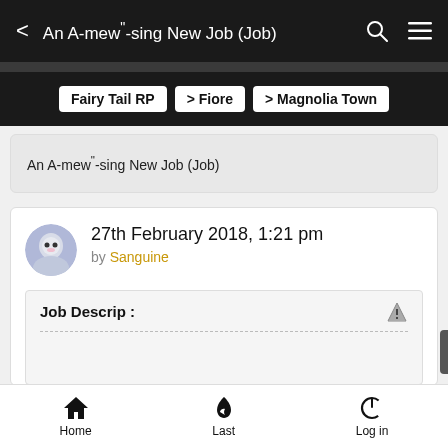< An A-mew"-sing New Job (Job)
Fairy Tail RP > Fiore > Magnolia Town
An A-mew"-sing New Job (Job)
27th February 2018, 1:21 pm by Sanguine
Job Descrip :
Home  Last  Log in